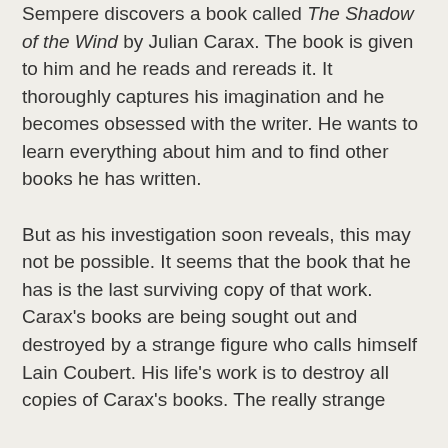Sempere discovers a book called The Shadow of the Wind by Julian Carax.  The book is given to him and he reads and rereads it. It thoroughly captures his imagination and he becomes obsessed with the writer. He wants to learn everything about him and to find other books he has written.
But as his investigation soon reveals, this may not be possible. It seems that the book that he has is the last surviving copy of that work. Carax's books are being sought out and destroyed by a strange figure who calls himself Lain Coubert. His life's work is to destroy all copies of Carax's books. The really strange